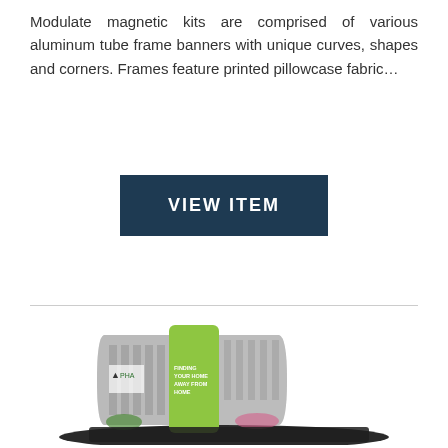Modulate magnetic kits are comprised of various aluminum tube frame banners with unique curves, shapes and corners. Frames feature printed pillowcase fabric…
VIEW ITEM
[Figure (photo): Product photo of a modular trade show display kit featuring curved aluminum tube frame banners with printed pillowcase fabric, including a green center panel with text 'Finding Your Home Away From Home', displayed on a dark floor mat with a cityscape and colorful cars in the background.]